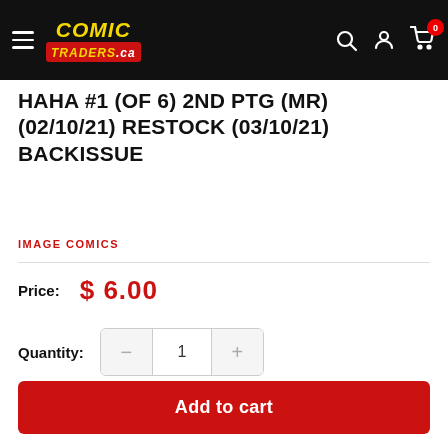Comic Traders .ca — navigation bar with hamburger menu, search, account, cart (0)
HAHA #1 (OF 6) 2ND PTG (MR) (02/10/21) RESTOCK (03/10/21) BACKISSUE
IMAGE COMICS
Price: $ 6.00
Quantity: 1
Add to cart